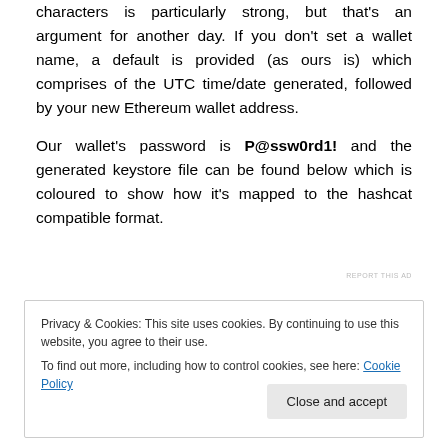characters is particularly strong, but that's an argument for another day. If you don't set a wallet name, a default is provided (as ours is) which comprises of the UTC time/date generated, followed by your new Ethereum wallet address.
Our wallet's password is P@ssw0rd1! and the generated keystore file can be found below which is coloured to show how it's mapped to the hashcat compatible format.
REPORT THIS AD
Privacy & Cookies: This site uses cookies. By continuing to use this website, you agree to their use.
To find out more, including how to control cookies, see here: Cookie Policy
Close and accept